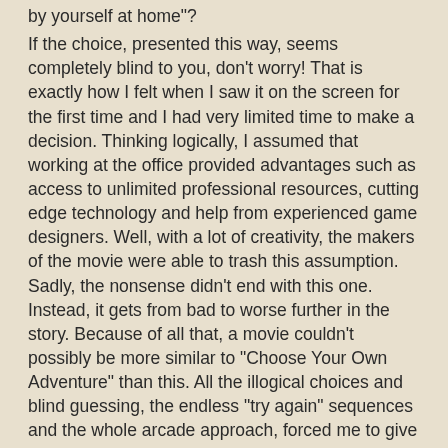by yourself at home"?
If the choice, presented this way, seems completely blind to you, don't worry! That is exactly how I felt when I saw it on the screen for the first time and I had very limited time to make a decision. Thinking logically, I assumed that working at the office provided advantages such as access to unlimited professional resources, cutting edge technology and help from experienced game designers. Well, with a lot of creativity, the makers of the movie were able to trash this assumption. Sadly, the nonsense didn't end with this one. Instead, it gets from bad to worse further in the story. Because of all that, a movie couldn't possibly be more similar to "Choose Your Own Adventure" than this. All the illogical choices and blind guessing, the endless "try again" sequences and the whole arcade approach, forced me to give up at some point. The story also got weirder later on, but I guess that is to be expected with any "Black Mirror" production. Needless to say, I was extremely disappointed.
Because of how bad it is, the owner of "Choose Your Own Adventure" brand (ChooseCo LLC) probably has a good